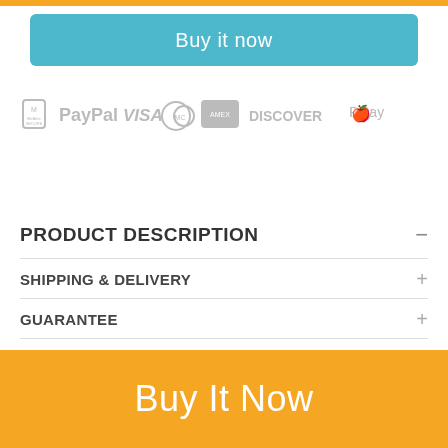Buy it now
[Figure (logo): Payment method icons: McAfee SECURE, PayPal, VISA, MasterCard, American Express, DISCOVER, Apple Pay — all in gray]
PRODUCT DESCRIPTION
SHIPPING & DELIVERY
GUARANTEE
Your go-to product before stepping out of the house!
Buy It Now